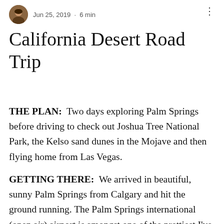Jun 25, 2019 · 6 min
California Desert Road Trip
THE PLAN:  Two days exploring Palm Springs before driving to check out Joshua Tree National Park, the Kelso sand dunes in the Mojave and then flying home from Las Vegas.
GETTING THERE:  We arrived in beautiful, sunny Palm Springs from Calgary and hit the ground running. The Palm Springs international (open air) airport is amongst one of the prettiest I've ever flown into. It is small and cute and I instantly got excited about being here the second I was